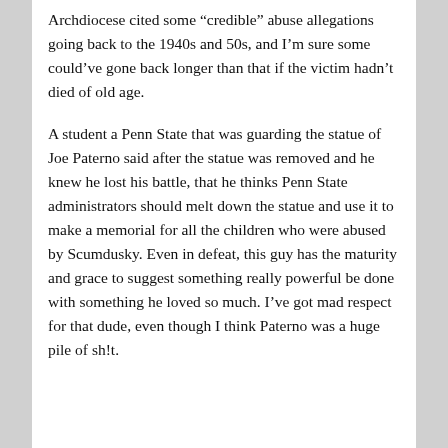Archdiocese cited some “credible” abuse allegations going back to the 1940s and 50s, and I’m sure some could’ve gone back longer than that if the victim hadn’t died of old age.
A student a Penn State that was guarding the statue of Joe Paterno said after the statue was removed and he knew he lost his battle, that he thinks Penn State administrators should melt down the statue and use it to make a memorial for all the children who were abused by Scumdusky. Even in defeat, this guy has the maturity and grace to suggest something really powerful be done with something he loved so much. I’ve got mad respect for that dude, even though I think Paterno was a huge pile of sh!t.